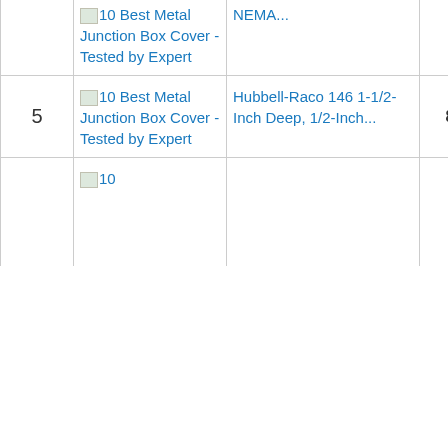| # | Image/Name | Product | Price | Action |
| --- | --- | --- | --- | --- |
|  | 10 Best Metal Junction Box Cover - Tested by Expert | NEMA... |  |  |
| 5 | 10 Best Metal Junction Box Cover - Tested by Expert | Hubbell-Raco 146 1-1/2-Inch Deep, 1/2-Inch... | 8.90 | Buy Ama |
|  | 10 |  |  |  |